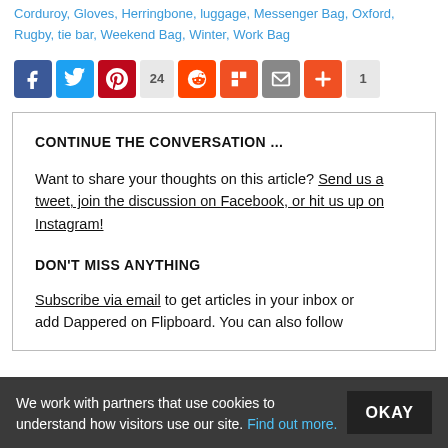Corduroy, Gloves, Herringbone, luggage, Messenger Bag, Oxford, Rugby, tie bar, Weekend Bag, Winter, Work Bag
[Figure (infographic): Social share buttons row: Facebook (blue), Twitter (blue), Pinterest (red), count 24, Reddit (orange), Flipboard (red-orange), Email (grey), Plus (orange), count 1]
CONTINUE THE CONVERSATION ...
Want to share your thoughts on this article? Send us a tweet, join the discussion on Facebook, or hit us up on Instagram!
DON'T MISS ANYTHING
Subscribe via email to get articles in your inbox or add Dappered on Flipboard. You can also follow
We work with partners that use cookies to understand how visitors use our site. Find out more.